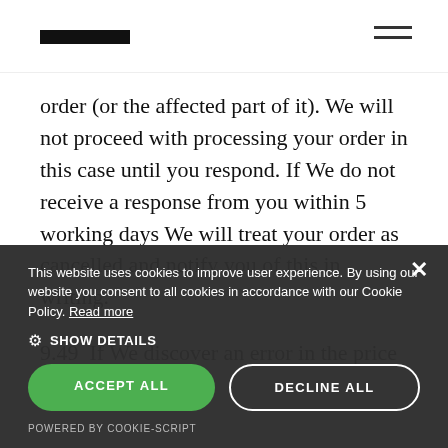order (or the affected part of it). We will not proceed with processing your order in this case until you respond. If We do not receive a response from you within 5 working days We will treat your order as cancelled and notify you of this in writing.
9.49  If We discover an error in the price or
This website uses cookies to improve user experience. By using our website you consent to all cookies in accordance with our Cookie Policy. Read more
SHOW DETAILS
ACCEPT ALL
DECLINE ALL
POWERED BY COOKIE-SCRIPT